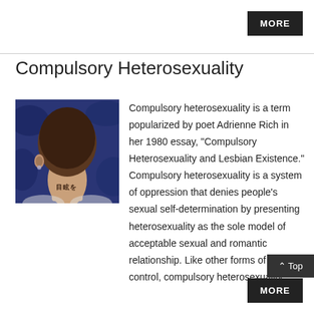MORE
Compulsory Heterosexuality
[Figure (photo): Back of a person's head/neck with Asian-character tattoo on the neck, against a blue background]
Compulsory heterosexuality is a term popularized by poet Adrienne Rich in her 1980 essay, “Compulsory Heterosexuality and Lesbian Existence.” Compulsory heterosexuality is a system of oppression that denies people’s sexual self-determination by presenting heterosexuality as the sole model of acceptable sexual and romantic relationship. Like other forms of s… control, compulsory heterosexuality…
MORE